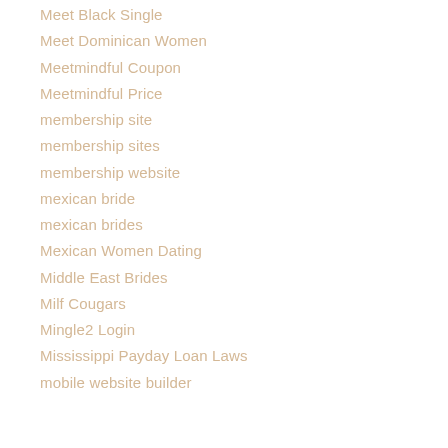Meet Black Single
Meet Dominican Women
Meetmindful Coupon
Meetmindful Price
membership site
membership sites
membership website
mexican bride
mexican brides
Mexican Women Dating
Middle East Brides
Milf Cougars
Mingle2 Login
Mississippi Payday Loan Laws
mobile website builder